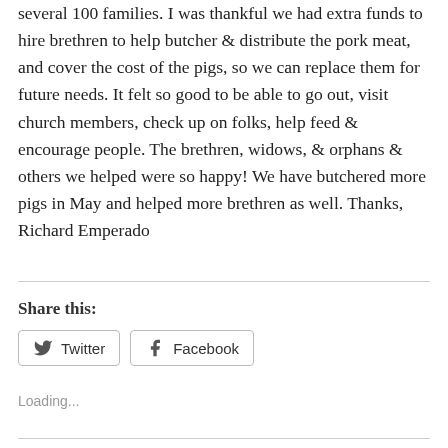several 100 families. I was thankful we had extra funds to hire brethren to help butcher & distribute the pork meat, and cover the cost of the pigs, so we can replace them for future needs. It felt so good to be able to go out, visit church members, check up on folks, help feed & encourage people. The brethren, widows, & orphans & others we helped were so happy! We have butchered more pigs in May and helped more brethren as well. Thanks, Richard Emperado
Share this:
[Figure (other): Twitter and Facebook share buttons]
Loading...